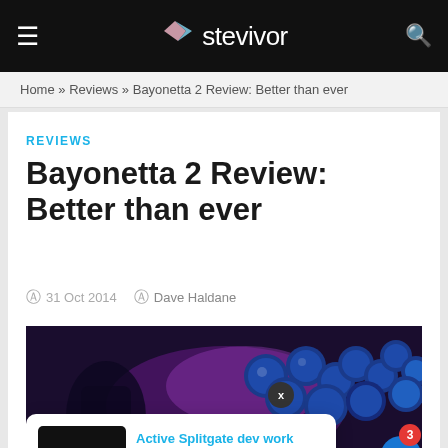stevivor
Home » Reviews » Bayonetta 2 Review: Better than ever
REVIEWS
Bayonetta 2 Review: Better than ever
31 Oct 2014  Dave Haldane
[Figure (screenshot): Bayonetta 2 in-game screenshot showing game scene with dark background, blue orbs, and purple magical effects]
Active Splitgate dev work ends as team works on
2 days ago